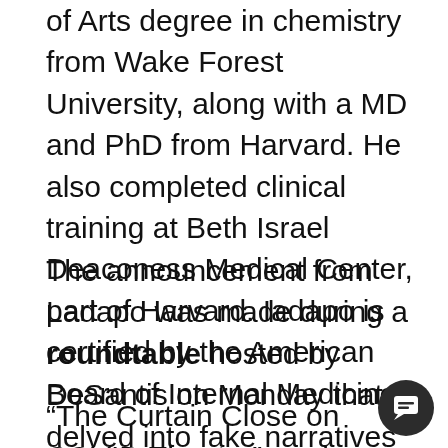of Arts degree in chemistry from Wake Forest University, along with a MD and PhD from Harvard. He also completed clinical training at Beth Israel Deaconess Medical Center, part of Harvard. Iadapo is certified by the American Board of Internal Medicine.
The announcement from Ladapo was made during a roundtable hosted by DeSantis on Monday that delved into fake narratives and policies surrounding the COVID-19 pandemic.
“The Curtain Close on COVID Theater” made an effort to gather healthcare professionals like Dr. Robert W. Malone to demonstrate to